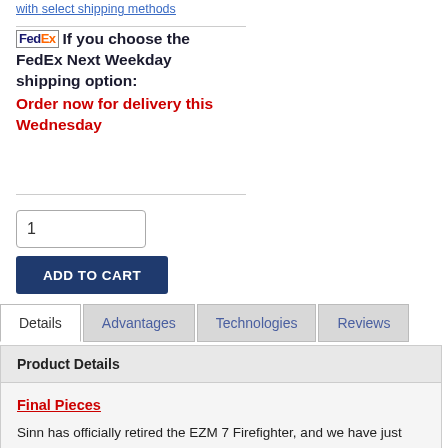with select shipping methods
If you choose the FedEx Next Weekday shipping option: Order now for delivery this Wednesday
1
ADD TO CART
Details | Advantages | Technologies | Reviews
Product Details
Final Pieces
Sinn has officially retired the EZM 7 Firefighter, and we have just received the final pieces.